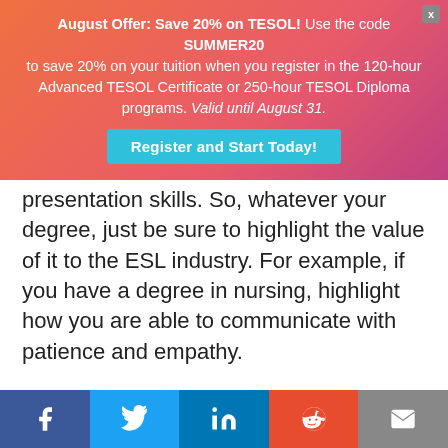[Figure (infographic): Promotional banner with gradient orange-pink background. Text reads: 'August Offer: Save 20% on TESOL! Use the code SUMMER20 to save 20% on your tuition when you register in the 120-hour Advanced TESOL Certificate or 250-hour TESOL Diploma programs. Valid until August 31.' with a teal 'Register and Start Today!' button and an X close button.]
presentation skills. So, whatever your degree, just be sure to highlight the value of it to the ESL industry. For example, if you have a degree in nursing, highlight how you are able to communicate with patience and empathy.
If you’re like me and you thoroughly enjoy learning new things and have more degrees than a thermometer, don’t feel the need to put them all on your resume. Keep your resume focused. Non-relevant degrees or educational attainments can be
[Figure (infographic): Social media share bar at bottom with five buttons: Facebook (blue), Twitter (light blue), LinkedIn (dark blue), Reddit (orange-red), Email (grey).]